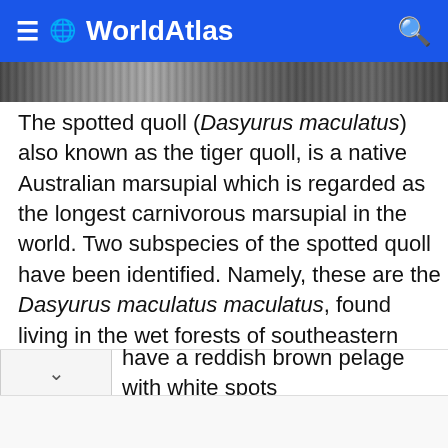≡ 🌐 WorldAtlas 🔍
[Figure (photo): Grayscale photo strip showing natural/animal scene]
The spotted quoll (Dasyurus maculatus) also known as the tiger quoll, is a native Australian marsupial which is regarded as the longest carnivorous marsupial in the world. Two subspecies of the spotted quoll have been identified. Namely, these are the Dasyurus maculatus maculatus, found living in the wet forests of southeastern Australia and Tasmania, and the Dasyurus maculatus gracilis, living in northern Queensland. Both of these species are categorized as "near threatened" by the International Union for the Conservation of Nature. The spotted have a reddish brown pelage with white spots